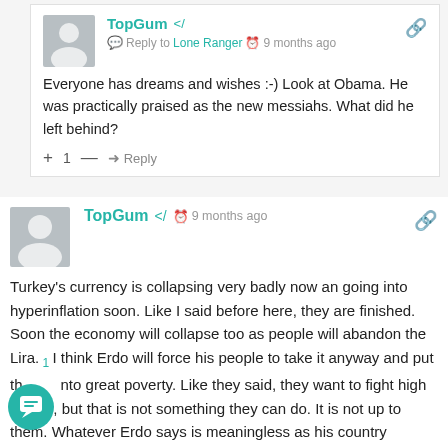TopGum  Reply to Lone Ranger  9 months ago
Everyone has dreams and wishes :-) Look at Obama. He was practically praised as the new messiahs. What did he left behind?
+ 1 —  Reply
TopGum  9 months ago
Turkey's currency is collapsing very badly now an going into hyperinflation soon. Like I said before here, they are finished. Soon the economy will collapse too as people will abandon the Lira. I think Erdo will force his people to take it anyway and put them into great poverty. Like they said, they want to fight high prices, but that is not something they can do. It is not up to them. Whatever Erdo says is meaningless as his country doesn't have